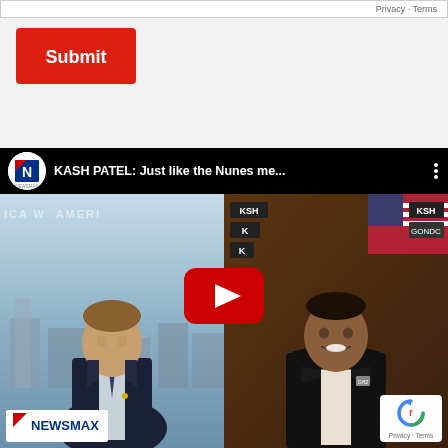Privacy · Terms
[Figure (screenshot): Red Submit button on a light gray background]
[Figure (screenshot): YouTube embedded video thumbnail showing a Newsmax split-screen interview. Left: male TV anchor in suit. Right: Kash Patel in dark suit. Title: KASH PATEL: Just like the Nunes me... Red YouTube play button overlay. NEWSMAX logo bottom-left. reCAPTCHA badge bottom-right.]